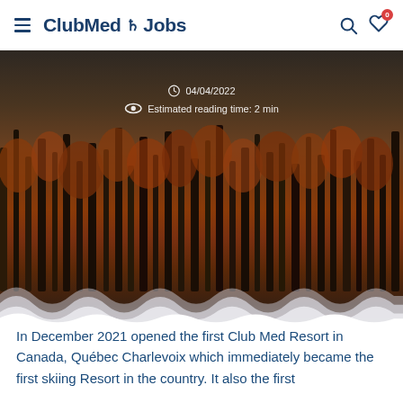Club Med Jobs
04/04/2022
Estimated reading time: 2 min
[Figure (photo): Autumn forest landscape with orange and brown trees against a dark sky, with a white mountain/snow wave overlay at the bottom]
In December 2021 opened the first Club Med Resort in Canada, Québec Charlevoix which immediately became the first skiing Resort in the country. It also the first